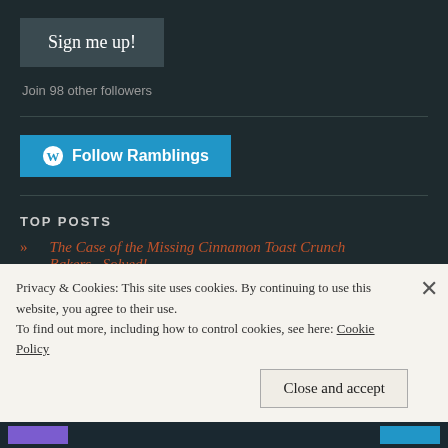[Figure (other): Sign me up! button - dark grey/slate colored button]
Join 98 other followers
[Figure (other): Follow Ramblings button - blue WordPress follow button with WordPress logo]
TOP POSTS
» The Case of the Missing Cinnamon Toast Crunch Bakers...Solved!
Privacy & Cookies: This site uses cookies. By continuing to use this website, you agree to their use.
To find out more, including how to control cookies, see here: Cookie Policy
[Figure (other): Close and accept button for cookie banner]